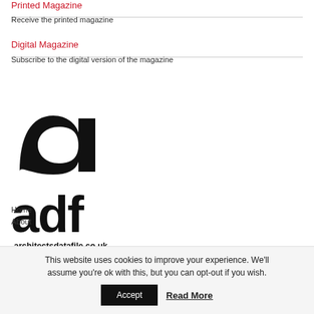Printed Magazine
Receive the printed magazine
Digital Magazine
Subscribe to the digital version of the magazine
[Figure (logo): ADF (Architects Datafile) logo — large bold black lowercase letters 'adf' above the URL architectsdatafile.co.uk]
Home
About
This website uses cookies to improve your experience. We'll assume you're ok with this, but you can opt-out if you wish.